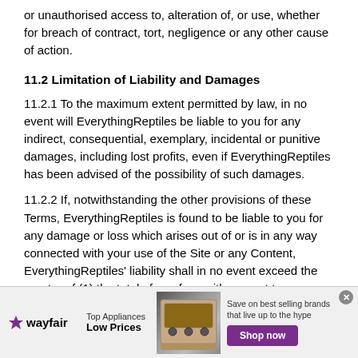or unauthorised access to, alteration of, or use, whether for breach of contract, tort, negligence or any other cause of action.
11.2 Limitation of Liability and Damages
11.2.1 To the maximum extent permitted by law, in no event will EverythingReptiles be liable to you for any indirect, consequential, exemplary, incidental or punitive damages, including lost profits, even if EverythingReptiles has been advised of the possibility of such damages.
11.2.2 If, notwithstanding the other provisions of these Terms, EverythingReptiles is found to be liable to you for any damage or loss which arises out of or is in any way connected with your use of the Site or any Content, EverythingReptiles' liability shall in no event exceed the greater of (1) the total of any fees with respect to any Service or feature of or on the Site paid in the six months
[Figure (infographic): Wayfair advertisement banner: Top Appliances Low Prices with an image of a stove/range and a purple Shop now button. Save on best selling brands that live up to the hype.]